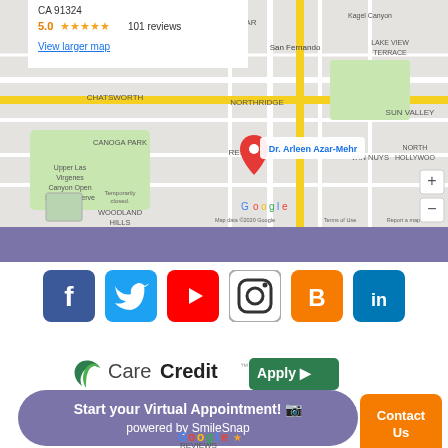[Figure (map): Google Maps screenshot showing Northridge area of Los Angeles with a red pin marker labeled 'Dr. Arleen Azar-Mehr'. The map shows areas including Chatsworth, Canoga Park, Reseda, Van Nuys, Sun Valley, Granada Hills, San Fernando. Map data ©2020 Google.]
CA 91324
5.0 ★★★★★  101 reviews
View larger map
[Figure (infographic): Row of six social media icon buttons: Facebook (blue), Twitter (blue), YouTube (red), Instagram (outlined), Blogger (orange), LinkedIn (blue)]
[Figure (logo): CareCredit logo with green 'Apply' button with arrow]
Start your Virtual Appointment! 📷 powered by SmileSnap
Contact Us
[Figure (logo): Google Reviews logo with star]